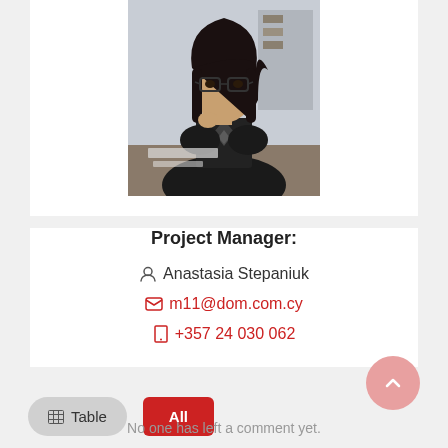[Figure (photo): Portrait photo of a young woman with glasses and dark hair, wearing a black and grey argyle vest, sitting at a desk in a thoughtful pose.]
Project Manager:
Anastasia Stepaniuk
m11@dom.com.cy
+357 24 030 062
According to the terms objects were not found.
No one has left a comment yet.